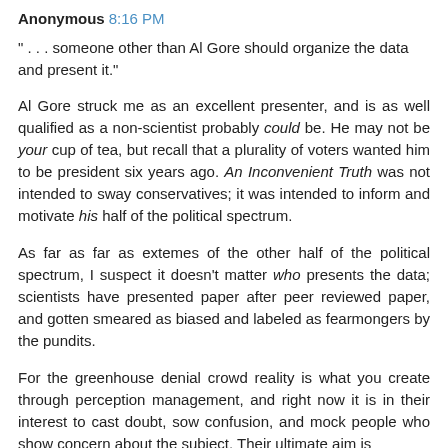Anonymous 8:16 PM
" . . . someone other than Al Gore should organize the data and present it."
Al Gore struck me as an excellent presenter, and is as well qualified as a non-scientist probably could be. He may not be your cup of tea, but recall that a plurality of voters wanted him to be president six years ago. An Inconvenient Truth was not intended to sway conservatives; it was intended to inform and motivate his half of the political spectrum.
As far as far as extemes of the other half of the political spectrum, I suspect it doesn't matter who presents the data; scientists have presented paper after peer reviewed paper, and gotten smeared as biased and labeled as fearmongers by the pundits.
For the greenhouse denial crowd reality is what you create through perception management, and right now it is in their interest to cast doubt, sow confusion, and mock people who show concern about the subject. Their ultimate aim is